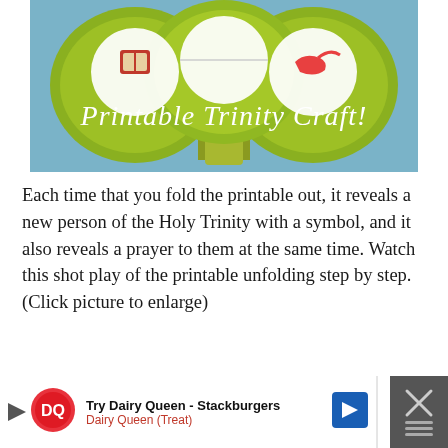[Figure (photo): Craft image showing a green painted paper craft resembling a three-leaf shamrock shape with circular elements at the top bearing symbols, on a blue background. White decorative text reads 'Printable Trinity Craft!']
Each time that you fold the printable out, it reveals a new person of the Holy Trinity with a symbol, and it also reveals a prayer to them at the same time. Watch this shot play of the printable unfolding step by step. (Click picture to enlarge)
[Figure (other): Advertisement bar at bottom: Dairy Queen ad showing 'Try Dairy Queen - Stackburgers' with DQ logo, Dairy Queen (Treat) subtext, navigation arrow icon, and close X button on dark background.]